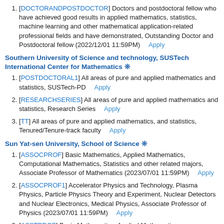[DOCTORANDPOSTDOCTOR] Doctors and postdoctoral fellow who have achieved good results in applied mathematics, statistics, machine learning and other mathematical application-related professional fields and have demonstrated, Outstanding Doctor and Postdoctoral fellow (2022/12/01 11:59PM)   Apply
Southern University of Science and technology, SUSTech International Center for Mathematics ❊
[POSTDOCTORAL1] All areas of pure and applied mathematics and statistics, SUSTech-PD   Apply
[RESEARCHSERIES] All areas of pure and applied mathematics and statistics, Research Series   Apply
[TT] All areas of pure and applied mathematics, and statistics, Tenured/Tenure-track faculty   Apply
Sun Yat-sen University, School of Science ❊
[ASSOCPROF] Basic Mathematics, Applied Mathematics, Computational Mathematics, Statistics and other related majors, Associate Professor of Mathematics (2023/07/01 11:59PM)   Apply
[ASSOCPROF1] Accelerator Physics and Technology, Plasma Physics, Particle Physics Theory and Experiment, Nuclear Detectors and Nuclear Electronics, Medical Physics, Associate Professor of Physics (2023/07/01 11:59PM)   Apply
[ASSTPROF] Basic Mathematics, Applied Mathematics, Computational Mathematics, Statistics and other related majors, Assistant Professor of Mathematics (2023/07/01 11:59PM)   Apply